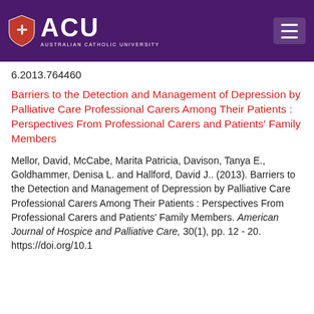ACU — Australian Catholic University
6.2013.764460
Barriers to the Detection and Management of Depression by Palliative Care Professional Carers Among Their Patients : Perspectives From Professional Carers and Patients' Family Members
Mellor, David, McCabe, Marita Patricia, Davison, Tanya E., Goldhammer, Denisa L. and Hallford, David J.. (2013). Barriers to the Detection and Management of Depression by Palliative Care Professional Carers Among Their Patients : Perspectives From Professional Carers and Patients' Family Members. American Journal of Hospice and Palliative Care, 30(1), pp. 12 - 20. https://doi.org/10.1